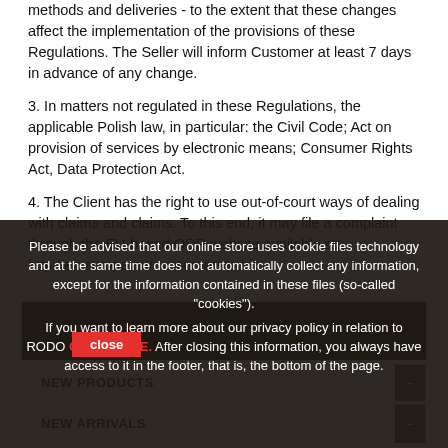methods and deliveries - to the extent that these changes affect the implementation of the provisions of these Regulations. The Seller will inform Customer at least 7 days in advance of any change.
3. In matters not regulated in these Regulations, the applicable Polish law, in particular: the Civil Code; Act on provision of services by electronic means; Consumer Rights Act, Data Protection Act.
4. The Client has the right to use out-of-court ways of dealing with claims and claims. To this end, it may file a complaint through the EU-based ODR website available at: http://ec.europa.eu/consumers/odr/.
Please be advised that our online store uses cookie files technology and at the same time does not automatically collect any information, except for the information contained in these files (so-called "cookies"). If you want to learn more about our privacy policy in relation to RODO CLICK HERE. After closing this information, you always have access to it in the footer, that is, the bottom of the page.
CATEGORIES
close
NEW PRODUCTS
NEW ARRIVALS